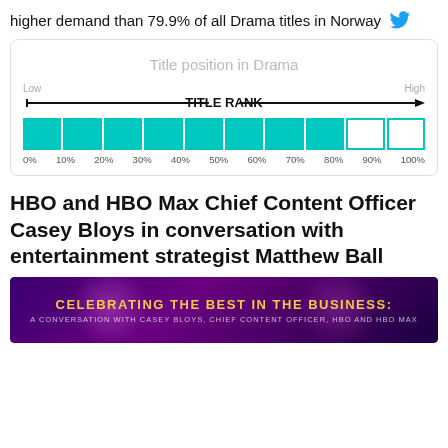higher demand than 79.9% of all Drama titles in Norway
[Figure (infographic): Title position in Drama scale chart showing rank from 0% to 100% with filled teal segments from 0% to ~80% and empty segments from 80% to 100%, with an arrow labeled TITLE RANK pointing from Low to High]
HBO and HBO Max Chief Content Officer Casey Bloys in conversation with entertainment strategist Matthew Ball
[Figure (photo): Purple/violet promotional banner with gold text reading CELEBRATING THE BEST IN THE BUSINESS: and smaller white subtitle text below]